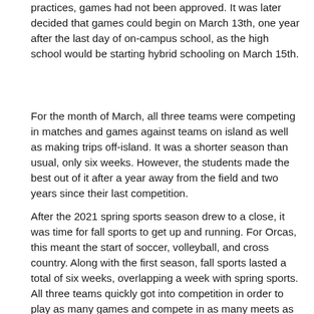practices, games had not been approved. It was later decided that games could begin on March 13th, one year after the last day of on-campus school, as the high school would be starting hybrid schooling on March 15th.
For the month of March, all three teams were competing in matches and games against teams on island as well as making trips off-island. It was a shorter season than usual, only six weeks. However, the students made the best out of it after a year away from the field and two years since their last competition.
After the 2021 spring sports season drew to a close, it was time for fall sports to get up and running. For Orcas, this meant the start of soccer, volleyball, and cross country. Along with the first season, fall sports lasted a total of six weeks, overlapping a week with spring sports. All three teams quickly got into competition in order to play as many games and compete in as many meets as possible. Because volleyball is an indoor sport, more protocols were taken in order to keep players and coaches safe, this included limiting the spectators, so all of the home games and most of the away games were streamed live on the internet for